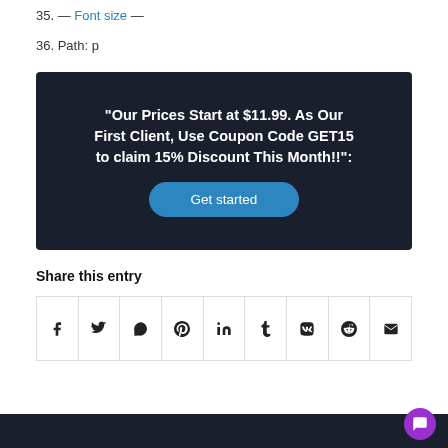35. — Font size —
36. Path: p
[Figure (infographic): Dark navy promotional banner with bold white text reading: "Our Prices Start at $11.99. As Our First Client, Use Coupon Code GET15 to claim 15% Discount This Month!!": with a blue rounded 'Get started' button below.]
Share this entry
[Figure (infographic): A row of social media sharing icons in a bordered grid: Facebook, Twitter, WhatsApp, Pinterest, LinkedIn, Tumblr, VK, Reddit, Email]